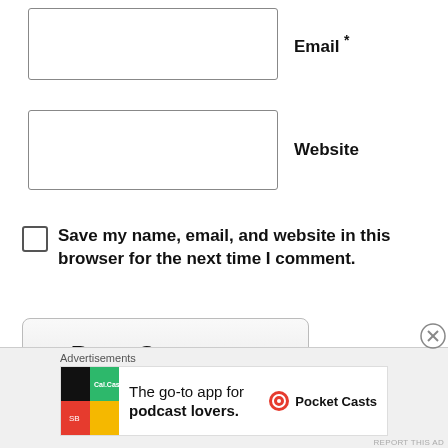Email *
Website
Save my name, email, and website in this browser for the next time I comment.
Post Comment
Notify me of new comments via email.
Notify me of new posts via email.
[Figure (infographic): Advertisement banner for Pocket Casts app with logo and text: The go-to app for podcast lovers.]
Advertisements